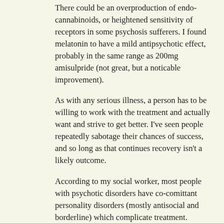There could be an overproduction of endocannabinoids, or heightened sensitivity of receptors in some psychosis sufferers. I found melatonin to have a mild antipsychotic effect, probably in the same range as 200mg amisulpride (not great, but a noticable improvement).
As with any serious illness, a person has to be willing to work with the treatment and actually want and strive to get better. I've seen people repeatedly sabotage their chances of success, and so long as that continues recovery isn't a likely outcome.
According to my social worker, most people with psychotic disorders have co-comittant personality disorders (mostly antisocial and borderline) which complicate treatment. Psychotherapy and behavioural interventions are necessary for these people because medication alone doesn't usually change the ingrained patterns of interacting with the world and other people that are at the core of PDs.
Q